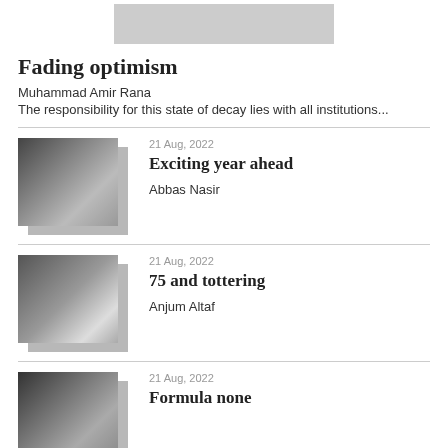[Figure (other): Gray banner image at top of page]
Fading optimism
Muhammad Amir Rana
The responsibility for this state of decay lies with all institutions...
[Figure (photo): Black and white photo of Abbas Nasir]
21 Aug, 2022
Exciting year ahead
Abbas Nasir
[Figure (photo): Black and white photo of Anjum Altaf]
21 Aug, 2022
75 and tottering
Anjum Altaf
[Figure (photo): Black and white photo of third article author]
21 Aug, 2022
Formula none